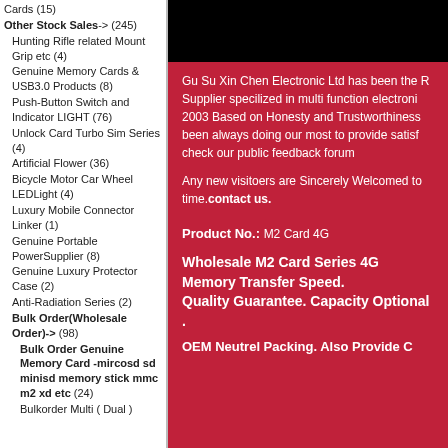Cards (15)
Other Stock Sales-> (245)
Hunting Rifle related Mount Grip etc (4)
Genuine Memory Cards & USB3.0 Products (8)
Push-Button Switch and Indicator LIGHT (76)
Unlock Card Turbo Sim Series (4)
Artificial Flower (36)
Bicycle Motor Car Wheel LEDLight (4)
Luxury Mobile Connector Linker (1)
Genuine Portable PowerSupplier (8)
Genuine Luxury Protector Case (2)
Anti-Radiation Series (2)
Bulk Order(Wholesale Order)-> (98)
Bulk Order Genuine Memory Card -mircosd sd minisd memory stick mmc m2 xd etc (24)
Bulkorder Multi ( Dual )
Gu Su Xin Chen Electronic Ltd has been the R Supplier specilized in multi function electroni 2003 Based on Honesty and Trustworthiness been always doing our most to provide satisf check our public feedback forum
Any new visitoers are Sincerely Welcomed to time.contact us.
Product No.: M2 Card 4G
Wholesale M2 Card Series 4G Memory Transfer Speed. Quality Guarantee. Capacity Optional .
OEM Neutrel Packing. Also Provide C